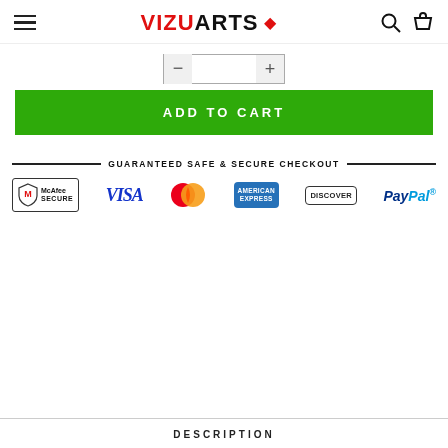VIZU ARTS
[Figure (screenshot): Quantity selector input box with minus and plus buttons]
ADD TO CART
[Figure (infographic): Guaranteed Safe & Secure Checkout banner with McAfee Secure, Visa, MasterCard, American Express, Discover, and PayPal logos]
DESCRIPTION